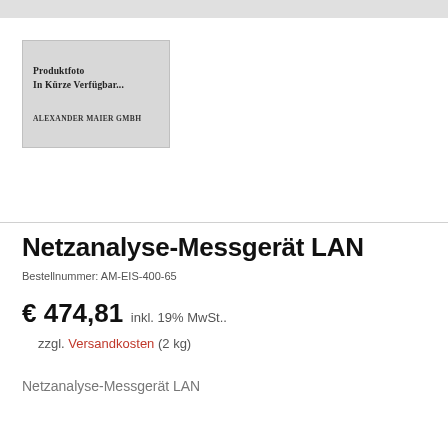[Figure (illustration): Placeholder product image box with text 'Produktfoto in Kürze verfügbar...' and brand name 'Alexander Maier GmbH' on a grey background]
Netzanalyse-Messgerät LAN
Bestellnummer: AM-EIS-400-65
€ 474,81 inkl. 19% MwSt..
zzgl. Versandkosten (2 kg)
Netzanalyse-Messgerät LAN